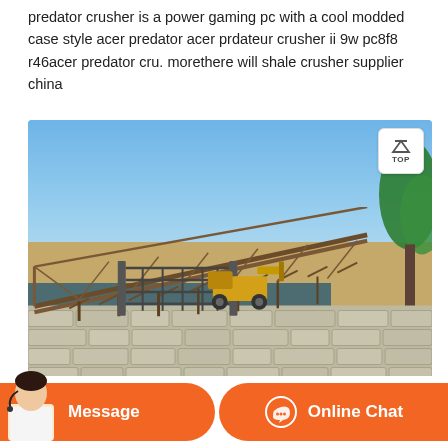predator crusher is a power gaming pc with a cool modded case style acer predator acer prdateur crusher ii 9w pc8f8 r46acer predator cru. morethere will shale crusher supplier china
[Figure (photo): Outdoor photo of a shale crusher / industrial mining facility with a large metal truss conveyor structure, sandy ground, stone wall fence, gate, construction equipment (yellow loader), trees on the right, and a blue sky.]